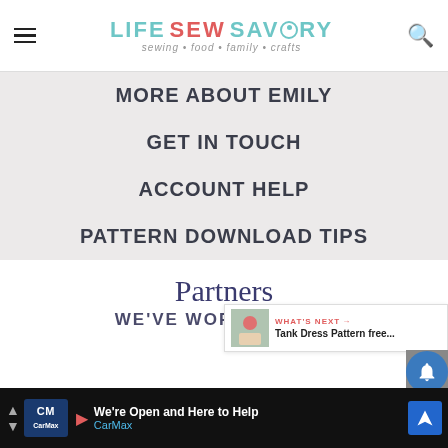Life Sew Savory — sewing • food • family • crafts
MORE ABOUT EMILY
GET IN TOUCH
ACCOUNT HELP
PATTERN DOWNLOAD TIPS
Partners
WE'VE WORKED WITH
WHAT'S NEXT → Tank Dress Pattern free...
[Figure (infographic): Advertisement banner: CarMax - We're Open and Here to Help]
[Figure (infographic): Notification bell icon overlay with X close button]